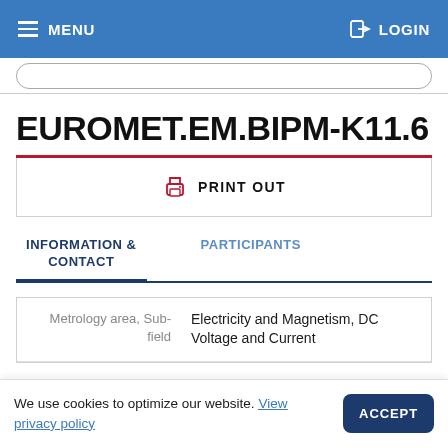MENU   LOGIN
EUROMET.EM.BIPM-K11.6
PRINT OUT
INFORMATION & CONTACT
PARTICIPANTS
|  |  |
| --- | --- |
| Metrology area, Sub-field | Electricity and Magnetism, DC Voltage and Current |
We use cookies to optimize our website. View privacy policy  ACCEPT